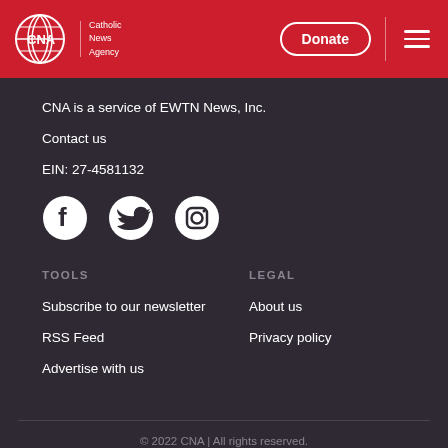CNA Catholic News Agency — Donate — Menu
CNA is a service of EWTN News, Inc.
Contact us
EIN: 27-4581132
[Figure (logo): Social media icons: Facebook, Twitter, Instagram]
TOOLS
LEGAL
Subscribe to our newsletter
About us
RSS Feed
Privacy policy
Advertise with us
© 2022 CNA | All rights reserved.